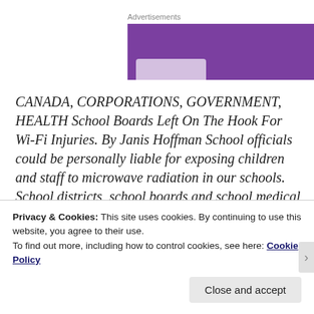Advertisements
[Figure (other): Advertisement banner with purple background and a gray section on the right]
CANADA, CORPORATIONS, GOVERNMENT, HEALTH School Boards Left On The Hook For Wi-Fi Injuries. By Janis Hoffman School officials could be personally liable for exposing children and staff to microwave radiation in our schools. School districts, school boards and school medical health officers
Privacy & Cookies: This site uses cookies. By continuing to use this website, you agree to their use.
To find out more, including how to control cookies, see here: Cookie Policy